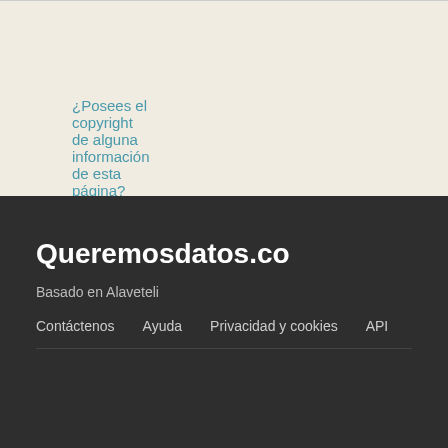¿Posees el copyright de alguna información de esta página?
Queremosdatos.co
Basado en Alaveteli
Contáctenos   Ayuda   Privacidad y cookies   API
@datasketch   /datasketch